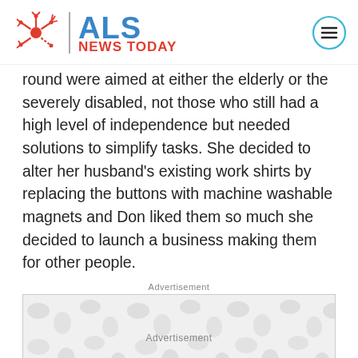ALS NEWS TODAY
round were aimed at either the elderly or the severely disabled, not those who still had a high level of independence but needed solutions to simplify tasks. She decided to alter her husband’s existing work shirts by replacing the buttons with machine washable magnets and Don liked them so much she decided to launch a business making them for other people.
Advertisement
[Figure (other): Advertisement banner placeholder with grey blob/dot pattern background and 'Advertisement' text in center]
[Figure (other): Second advertisement banner placeholder with grey blob/dot pattern background]
[Figure (other): Third advertisement banner placeholder with grey blob/dot pattern background]